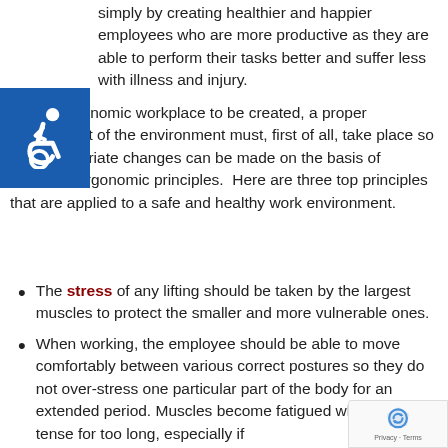simply by creating healthier and happier employees who are more productive as they are able to perform their tasks better and suffer less with illness and injury.
[Figure (illustration): Accessibility icon — white wheelchair symbol on blue square background]
For an ergonomic workplace to be created, a proper assessment of the environment must, first of all, take place so that appropriate changes can be made on the basis of accepted ergonomic principles.  Here are three top principles that are applied to a safe and healthy work environment.
The stress of any lifting should be taken by the largest muscles to protect the smaller and more vulnerable ones.
When working, the employee should be able to move comfortably between various correct postures so they do not over-stress one particular part of the body for an extended period. Muscles become fatigued when kept tense for too long, especially if